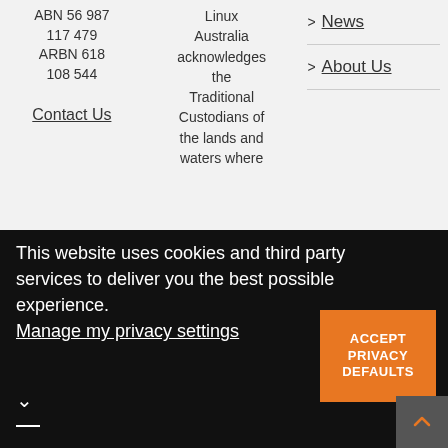ABN 56 987 117 479 ARBN 618 108 544
Contact Us
Linux Australia acknowledges the Traditional Custodians of the lands and waters where
> News
> About Us
This website uses cookies and third party services to deliver you the best possible experience.
Manage my privacy settings
ACCEPT PRIVACY DEFAULTS